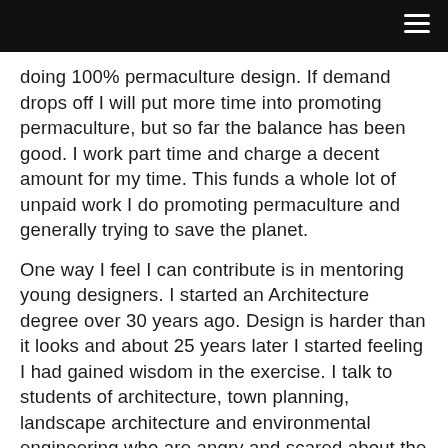doing 100% permaculture design. If demand drops off I will put more time into promoting permaculture, but so far the balance has been good. I work part time and charge a decent amount for my time. This funds a whole lot of unpaid work I do promoting permaculture and generally trying to save the planet.
One way I feel I can contribute is in mentoring young designers. I started an Architecture degree over 30 years ago. Design is harder than it looks and about 25 years later I started feeling I had gained wisdom in the exercise. I talk to students of architecture, town planning, landscape architecture and environmental engineering who are angry and scared about the problems, went to uni to learn how to fix them and uni has failed them. I think I can help .